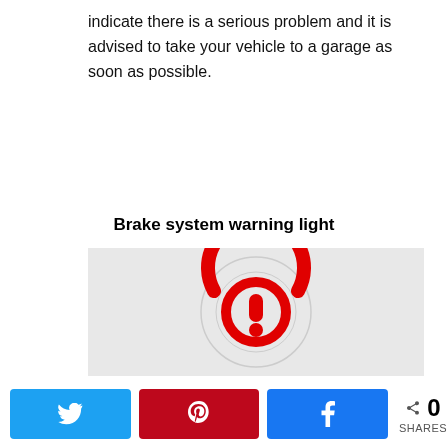indicate there is a serious problem and it is advised to take your vehicle to a garage as soon as possible.
Brake system warning light
[Figure (illustration): Red brake system warning light icon — a red exclamation mark inside a red circle with an open top arc, displayed on a light grey background with faint car dashboard imagery behind it.]
Twitter share button, Pinterest share button, Facebook share button, 0 SHARES